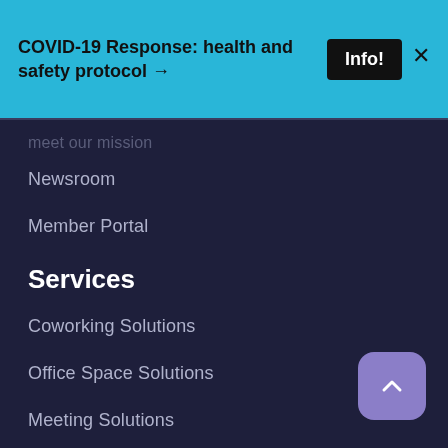COVID-19 Response: health and safety protocol →
meet our mission
Newsroom
Member Portal
Services
Coworking Solutions
Office Space Solutions
Meeting Solutions
Virtual Office Solutions